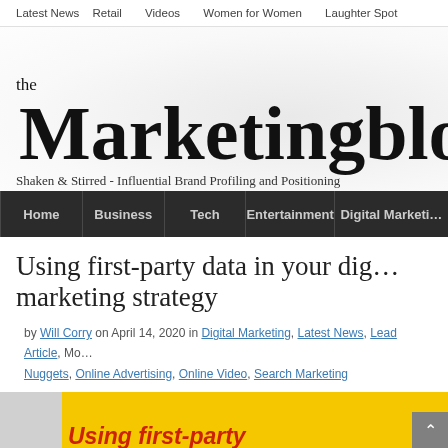Latest News  Retail  Videos  Women for Women  Laughter Spot
the Marketingblog
Shaken & Stirred - Influential Brand Profiling and Positioning
Home  Business  Tech  Entertainment  Digital Marketing
Using first-party data in your digital marketing strategy
by Will Corry on April 14, 2020 in Digital Marketing, Latest News, Lead Article, Mobile Nuggets, Online Advertising, Online Video, Search Marketing
[Figure (illustration): Yellow background promotional image with red italic text reading 'Using first-party']